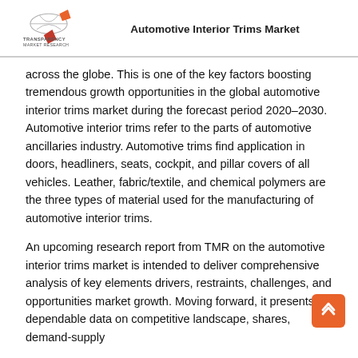Automotive Interior Trims Market
across the globe. This is one of the key factors boosting tremendous growth opportunities in the global automotive interior trims market during the forecast period 2020–2030. Automotive interior trims refer to the parts of automotive ancillaries industry. Automotive trims find application in doors, headliners, seats, cockpit, and pillar covers of all vehicles. Leather, fabric/textile, and chemical polymers are the three types of material used for the manufacturing of automotive interior trims.
An upcoming research report from TMR on the automotive interior trims market is intended to deliver comprehensive analysis of key elements drivers, restraints, challenges, and opportunities market growth. Moving forward, it presents dependable data on competitive landscape, shares, demand-supply